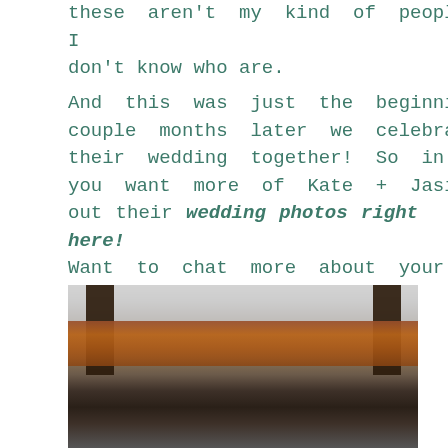these aren't my kind of people…I don't know who are.
And this was just the beginning. A couple months later we celebrated their wedding together! So in case you want more of Kate + Jasiu, check out their wedding photos right here!
Want to chat more about your forest engagement photos?? Chat us up right now!
[Figure (photo): A forest scene with a couple partially visible at the bottom, set against a rustic structure covered in autumn leaves and surrounded by tall trees]